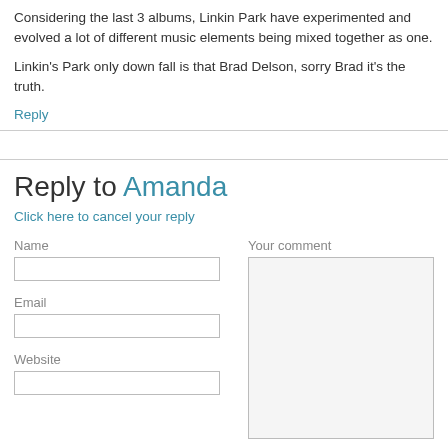Considering the last 3 albums, Linkin Park have experimented and evolved a lot of different music elements being mixed together as one.
Linkin's Park only down fall is that Brad Delson, sorry Brad it's the truth.
Reply
Reply to Amanda
Click here to cancel your reply
Name
Email
Website
Your comment
Submit Comment